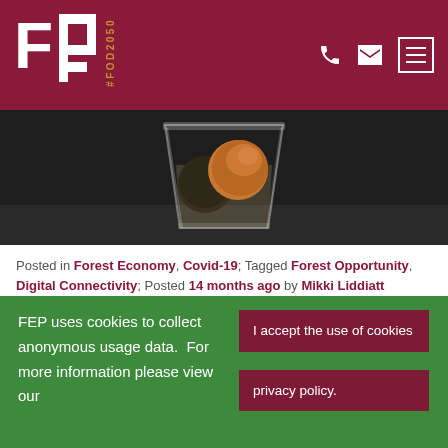[Figure (logo): FP logo with #FOD2050 text on dark red/maroon header background with phone, mail, and menu icons]
[Figure (photo): Close-up photo of a glass containing coins on a dark background]
Posted in Forest Economy, Covid-19; Tagged Forest Opportunity, Digital Connectivity; Posted 14 months ago by Mikki Liddiatt
The Growth Hub is releasing a new grant scheme to support Gloucestershire businesses that have been affected by the Covid pandemic.
FEP uses cookies to collect anonymous usage data.  For more information please view our  I accept the use of cookies  privacy policy.